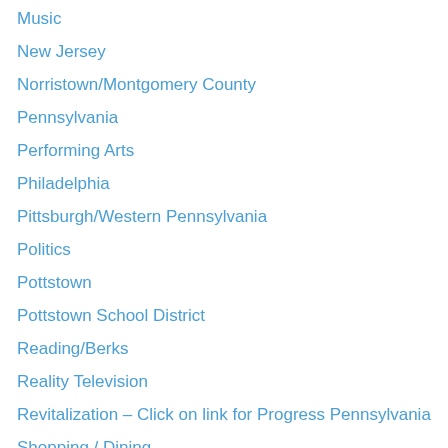Music
New Jersey
Norristown/Montgomery County
Pennsylvania
Performing Arts
Philadelphia
Pittsburgh/Western Pennsylvania
Politics
Pottstown
Pottstown School District
Reading/Berks
Reality Television
Revitalization – Click on link for Progress Pennsylvania
Shopping / Dining
Social Media
Sports
Travel
Uncategorized
Wilkes-Barre/Scranton
York